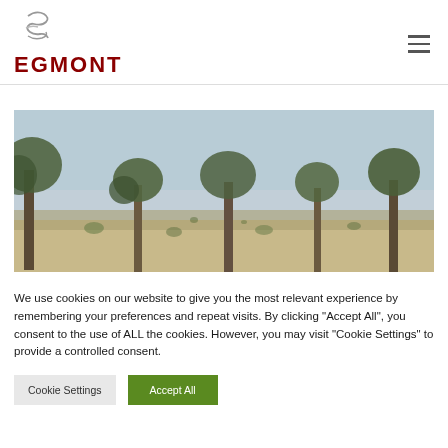[Figure (logo): Egmont logo with stylized E icon and dark red EGMONT wordmark]
[Figure (photo): Landscape photo of arid savanna with sparse acacia trees under a hazy blue sky]
We use cookies on our website to give you the most relevant experience by remembering your preferences and repeat visits. By clicking "Accept All", you consent to the use of ALL the cookies. However, you may visit "Cookie Settings" to provide a controlled consent.
Cookie Settings
Accept All